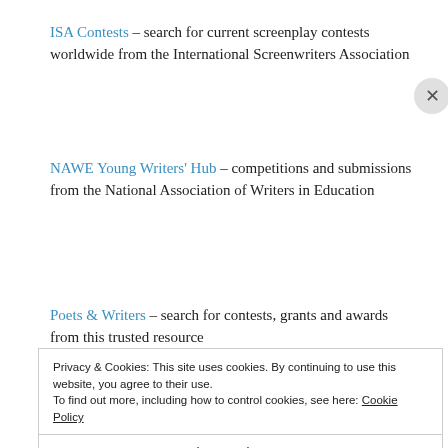ISA Contests – search for current screenplay contests worldwide from the International Screenwriters Association
NAWE Young Writers' Hub – competitions and submissions from the National Association of Writers in Education
Poets & Writers – search for contests, grants and awards from this trusted resource
Privacy & Cookies: This site uses cookies. By continuing to use this website, you agree to their use.
To find out more, including how to control cookies, see here: Cookie Policy
Close and accept